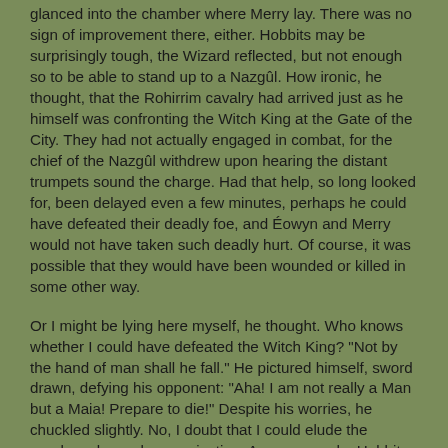glanced into the chamber where Merry lay. There was no sign of improvement there, either. Hobbits may be surprisingly tough, the Wizard reflected, but not enough so to be able to stand up to a Nazgûl. How ironic, he thought, that the Rohirrim cavalry had arrived just as he himself was confronting the Witch King at the Gate of the City. They had not actually engaged in combat, for the chief of the Nazgûl withdrew upon hearing the distant trumpets sound the charge. Had that help, so long looked for, been delayed even a few minutes, perhaps he could have defeated their deadly foe, and Éowyn and Merry would not have taken such deadly hurt. Of course, it was possible that they would have been wounded or killed in some other way.
Or I might be lying here myself, he thought. Who knows whether I could have defeated the Witch King? "Not by the hand of man shall he fall." He pictured himself, sword drawn, defying his opponent: "Aha! I am not really a Man but a Maia! Prepare to die!" Despite his worries, he chuckled slightly. No, I doubt that I could elude the prophecy by such prevarication. A woman and a Hobbit fulfill that ancient prophecy much more fittingly--and quite heroically. His smile faded, and he resumed his pacing.
At last the red sunset filled all the sky, and the light through the windows fell on the grey faces of the sick. Then it seemed to those who stood by that in the glow the faces flushed softly as with health returning, but it was only a mockery of hope.
Then an old wife, Ioreth, the eldest of the women who served in that house, looking on the fair face of Faramir, wept, for all the people loved him. And she said: "Alas! if he should die. Would that there were kings in Gondor, as there were once upon a time, they